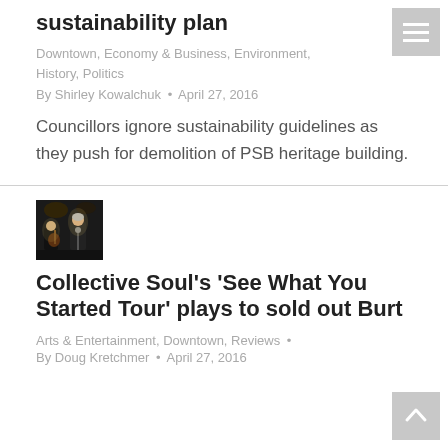sustainability plan
Downtown, Economy & Business, Environment, History, Politics
By Shirley Kowalchuk • April 27, 2016
Councillors ignore sustainability guidelines as they push for demolition of PSB heritage building.
[Figure (photo): Two performers on a dark stage, one with a guitar]
Collective Soul's 'See What You Started Tour' plays to sold out Burt
Arts & Entertainment, Downtown, Reviews •
By Doug Kretchmer • April 27, 2016